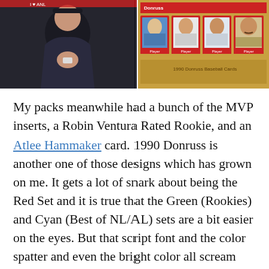[Figure (photo): Two photos side by side: left shows a person in a dark hoodie holding something; right shows vintage 1990 Donruss baseball cards with red borders featuring player portraits]
My packs meanwhile had a bunch of the MVP inserts, a Robin Ventura Rated Rookie, and an Atlee Hammaker card. 1990 Donruss is another one of those designs which has grown on me. It gets a lot of snark about being the Red Set and it is true that the Green (Rookies) and Cyan (Best of NL/AL) sets are a bit easier on the eyes. But that script font and the color spatter and even the bright color all scream 1990s design to me in a way which I really appreciate now.
I had also forgotten the way wax packs smelled. In a good way. Something about the mix of ink